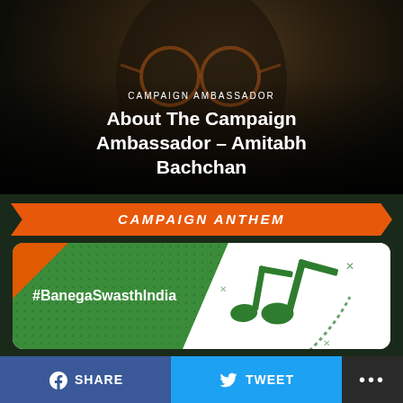[Figure (screenshot): Video thumbnail showing a person wearing round glasses, dark background, with overlay text about Campaign Ambassador Amitabh Bachchan]
CAMPAIGN AMBASSADOR
About The Campaign Ambassador – Amitabh Bachchan
[Figure (infographic): Orange banner with text CAMPAIGN ANTHEM]
[Figure (screenshot): Campaign anthem card with green background, #BanegaSwasthIndia hashtag, music note illustrations, and orange accent]
SHARE   TWEET   ...